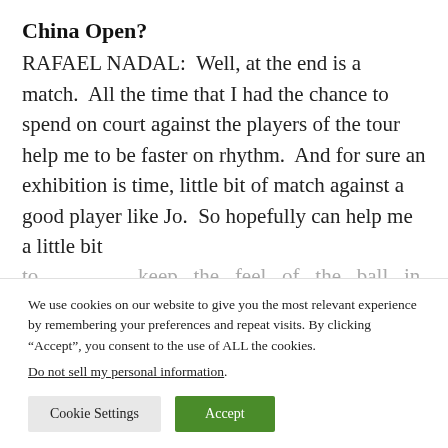China Open?
RAFAEL NADAL:  Well, at the end is a match.  All the time that I had the chance to spend on court against the players of the tour help me to be faster on rhythm.  And for sure an exhibition is time, little bit of match against a good player like Jo.  So hopefully can help me a little bit [truncated]
We use cookies on our website to give you the most relevant experience by remembering your preferences and repeat visits. By clicking “Accept”, you consent to the use of ALL the cookies.
Do not sell my personal information.